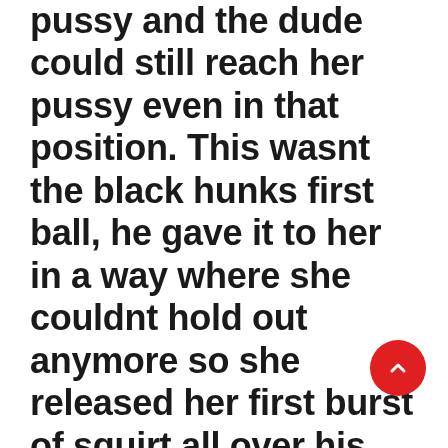pussy and the dude could still reach her pussy even in that position. This wasnt the black hunks first ball, he gave it to her in a way where she couldnt hold out anymore so she released her first burst of squirt all over his dick, the sucking that he got was sloppy. She was in a reverse cowgirl position and she wanted to have